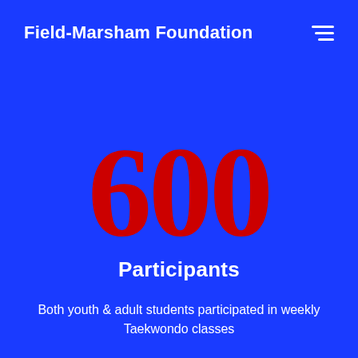Field-Marsham Foundation
600
Participants
Both youth & adult students participated in weekly Taekwondo classes